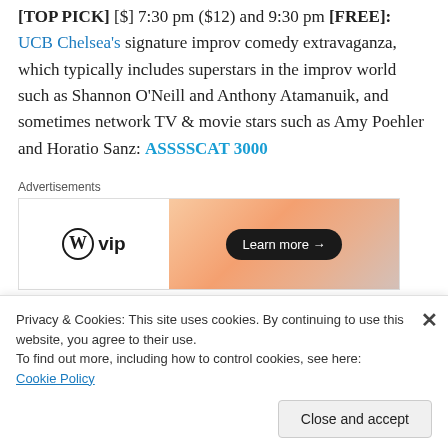[TOP PICK] [$] 7:30 pm ($12) and 9:30 pm [FREE]: UCB Chelsea's signature improv comedy extravaganza, which typically includes superstars in the improv world such as Shannon O'Neill and Anthony Atamanuik, and sometimes network TV & movie stars such as Amy Poehler and Horatio Sanz: ASSSSCAT 3000
[Figure (other): WordPress VIP advertisement banner with gradient orange background and 'Learn more' button]
7:30 pm ($7): Kevin Barnett (NBC's The Carmichael Show...
Privacy & Cookies: This site uses cookies. By continuing to use this website, you agree to their use.
To find out more, including how to control cookies, see here: Cookie Policy
Close and accept